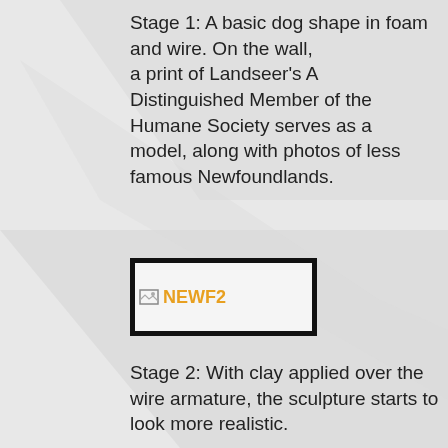Stage 1: A basic dog shape in foam and wire. On the wall, a print of Landseer's A Distinguished Member of the Humane Society serves as a model, along with photos of less famous Newfoundlands.
[Figure (illustration): A placeholder image box with a broken image icon and the text 'NEWF2' in orange/yellow, bordered by a thick black border.]
Stage 2: With clay applied over the wire armature, the sculpture starts to look more realistic.